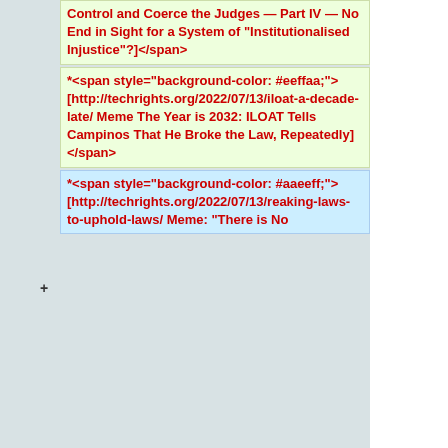Control and Coerce the Judges — Part IV — No End in Sight for a System of "Institutionalised Injustice"?]</span>
*<span style="background-color: #eeffaa;"> [http://techrights.org/2022/07/13/iloat-a-decade-late/ Meme The Year is 2032: ILOAT Tells Campinos That He Broke the Law, Repeatedly]</span>
*<span style="background-color: #aaeeff;"> [http://techrights.org/2022/07/13/reaking-laws-to-uphold-laws/ Meme: "There is No